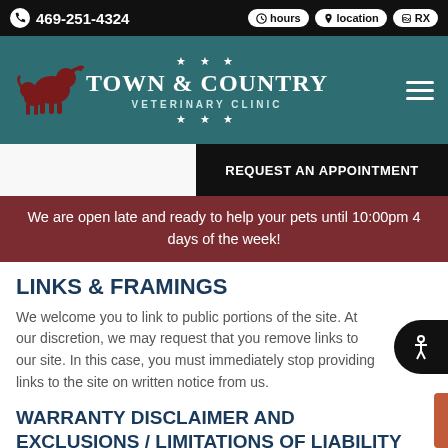469-251-4324 | hours | location | RX
[Figure (logo): Town & Country Veterinary Clinic logo with animal silhouettes and teal background]
REQUEST AN APPOINTMENT
We are open late and ready to help your pets until 10:00pm 4 days of the week!
LINKS & FRAMINGS
We welcome you to link to public portions of the site. At our discretion, we may request that you remove links to our site. In this case, you must immediately stop providing links to the site on written notice from us.
WARRANTY DISCLAIMER AND EXCLUSIONS / LIMITATIONS OF LIABILITY